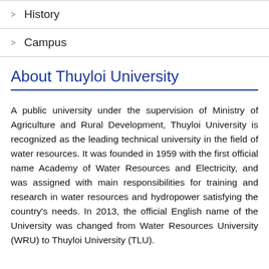History
Campus
About Thuyloi University
A public university under the supervision of Ministry of Agriculture and Rural Development, Thuyloi University is recognized as the leading technical university in the field of water resources. It was founded in 1959 with the first official name Academy of Water Resources and Electricity, and was assigned with main responsibilities for training and research in water resources and hydropower satisfying the country's needs. In 2013, the official English name of the University was changed from Water Resources University (WRU) to Thuyloi University (TLU).